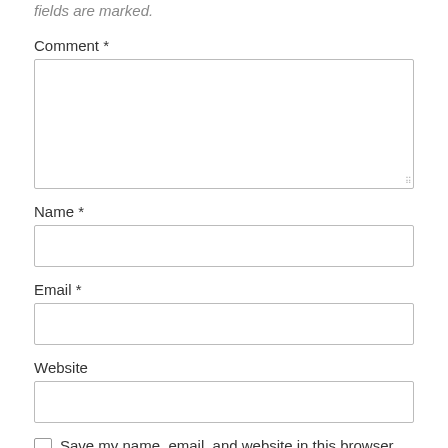fields are marked.
Comment *
[Figure (screenshot): Large textarea input box for comment, with resize handle at bottom right]
Name *
[Figure (screenshot): Single-line text input box for Name]
Email *
[Figure (screenshot): Single-line text input box for Email]
Website
[Figure (screenshot): Single-line text input box for Website]
Save my name, email, and website in this browser for the next time I comment.